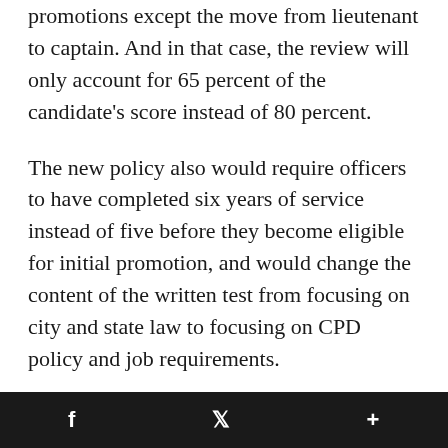promotions except the move from lieutenant to captain. And in that case, the review will only account for 65 percent of the candidate's score instead of 80 percent.
The new policy also would require officers to have completed six years of service instead of five before they become eligible for initial promotion, and would change the content of the written test from focusing on city and state law to focusing on CPD policy and job requirements.
f  y  +